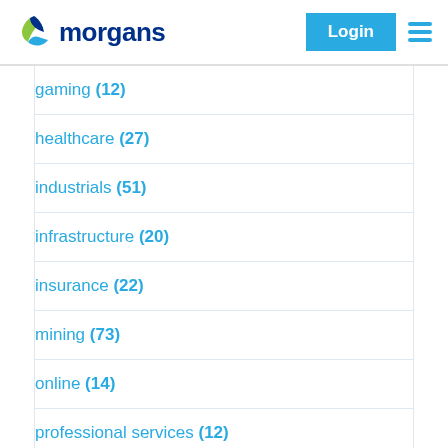morgans — Login
gaming (12)
healthcare (27)
industrials (51)
infrastructure (20)
insurance (22)
mining (73)
online (14)
professional services (12)
reporting season (198)